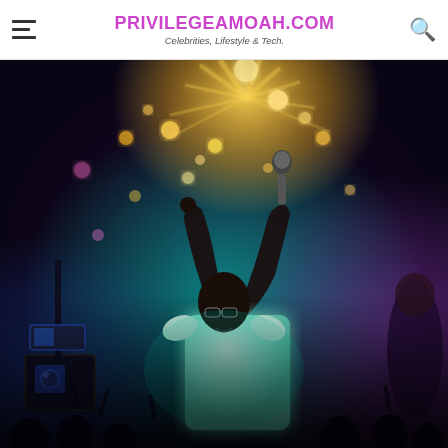PRIVILEGEAMOAH.COM — Celebrities, Lifestyle & Tech.
[Figure (photo): A performer on stage wearing sunglasses and a white t-shirt, both arms raised — left arm pointing up, right arm holding a microphone up. Stage is lit with teal/cyan lighting on the performer, gold bokeh burst lights in background, purple ambient light on right. Camera equipment visible in foreground left, crowd visible at bottom.]